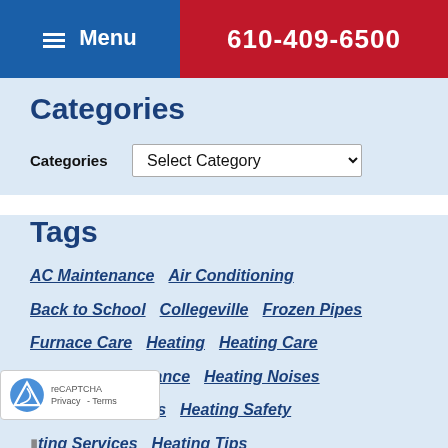Menu | 610-409-6500
Categories
Categories   Select Category
Tags
AC Maintenance
Air Conditioning
Back to School
Collegeville
Frozen Pipes
Furnace Care
Heating
Heating Care
Heating Maintenance
Heating Noises
Heating Problems
Heating Safety
Heating Services
Heating Tips
Heat Pump Issues
Heat Pump Repair
HVAC Tips
IAO Issues
IAO Services